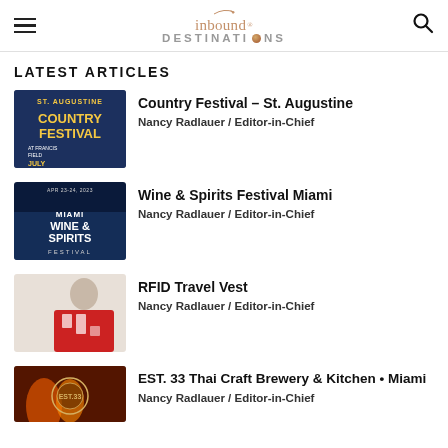inbound DESTINATIONS
LATEST ARTICLES
[Figure (photo): St. Augustine Country Festival at Francis Field – yellow text on dark blue background]
Country Festival – St. Augustine
Nancy Radlauer / Editor-in-Chief
[Figure (photo): Miami Wine & Spirits Festival – Apr 23-24, 2023, dark blue background with ocean imagery]
Wine & Spirits Festival Miami
Nancy Radlauer / Editor-in-Chief
[Figure (photo): Person wearing a red RFID travel vest with white icons]
RFID Travel Vest
Nancy Radlauer / Editor-in-Chief
[Figure (photo): EST. 33 Thai Craft Brewery & Kitchen Miami – fiery background with circular logo]
EST. 33 Thai Craft Brewery & Kitchen • Miami
Nancy Radlauer / Editor-in-Chief